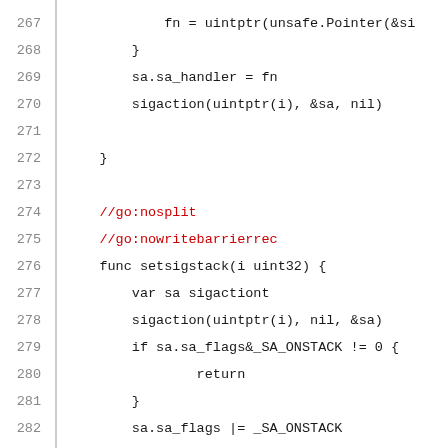Code listing lines 267-288, Go source code with line numbers
267     fn = uintptr(unsafe.Pointer(&si
268         }
269         sa.sa_handler = fn
270         sigaction(uintptr(i), &sa, nil)
271
272     }
273
274     //go:nosplit
275     //go:nowritebarrierrec
276     func setsigstack(i uint32) {
277         var sa sigactiont
278         sigaction(uintptr(i), nil, &sa)
279         if sa.sa_flags&_SA_ONSTACK != 0 {
280             return
281         }
282         sa.sa_flags |= _SA_ONSTACK
283         sigaction(uintptr(i), &sa, nil)
284     }
285
286     //go:nosplit
287     //go:nowritebarrierrec
288     func ...